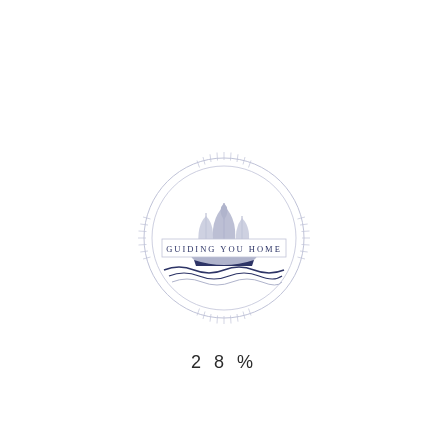[Figure (logo): Circular nautical logo with a tall ship sailing on waves, decorative sun-ray tick marks around the outer circle, and a banner reading 'GUIDING YOU HOME' across the center. Colors are muted lavender/navy blue on white background.]
28%